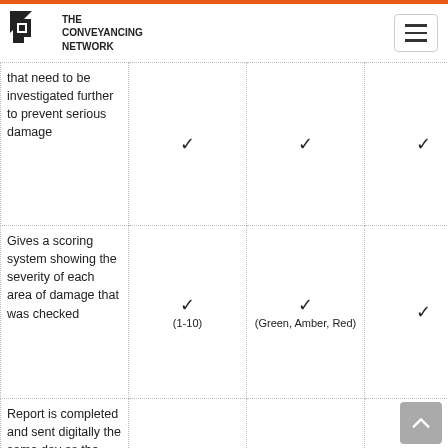THE CONVEYANCING NETWORK
| Feature | Col1 | Col2 | Col3 |
| --- | --- | --- | --- |
| that need to be investigated further to prevent serious damage | ✓ | ✓ | ✓ |
| Gives a scoring system showing the severity of each area of damage that was checked | ✓ (1-10) | ✓ (Green, Amber, Red) | ✓ |
| Report is completed and sent digitally the same day as the survey was | ✓ | ✗ | ✗ |